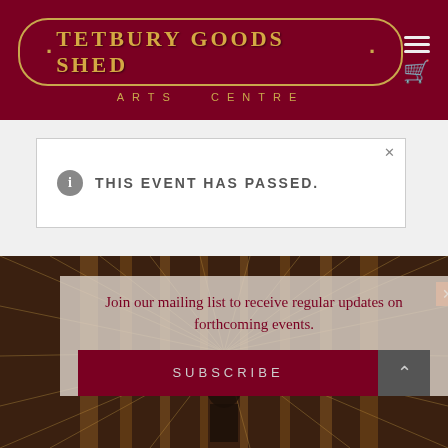TETBURY GOODS SHED · ARTS CENTRE
THIS EVENT HAS PASSED.
[Figure (photo): A man standing in a large industrial library or archive with radial shelving creating a dramatic perspective effect]
Join our mailing list to receive regular updates on forthcoming events.
SUBSCRIBE